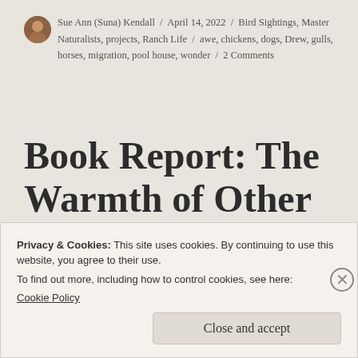Sue Ann (Suna) Kendall / April 14, 2022 / Bird Sightings, Master Naturalists, projects, Ranch Life / awe, chickens, dogs, Drew, gulls, horses, migration, pool house, wonder / 2 Comments
Book Report: The Warmth of Other Suns
[Figure (other): 4 out of 5 stars rating: four filled dark stars and one empty/grey star]
Privacy & Cookies: This site uses cookies. By continuing to use this website, you agree to their use.
To find out more, including how to control cookies, see here:
Cookie Policy
Close and accept